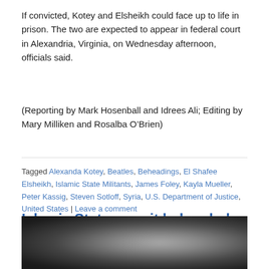If convicted, Kotey and Elsheikh could face up to life in prison. The two are expected to appear in federal court in Alexandria, Virginia, on Wednesday afternoon, officials said.
(Reporting by Mark Hosenball and Idrees Ali; Editing by Mary Milliken and Rosalba O’Brien)
Tagged Alexanda Kotey, Beatles, Beheadings, El Shafee Elsheikh, Islamic State Militants, James Foley, Kayla Mueller, Peter Kassig, Steven Sotloff, Syria, U.S. Department of Justice, United States | Leave a comment
Islamic State says it beheaded Christian captives in Nigeria
[Figure (photo): Dark blurred photograph, black background with blurred white/grey shapes]